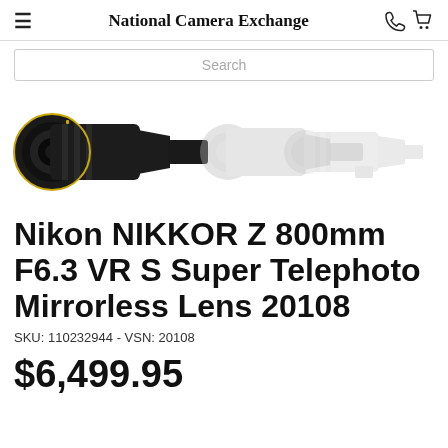National Camera Exchange
[Figure (illustration): Product image of Nikon NIKKOR Z 800mm lens shown in three views: a dark/black detailed view on the left, and two lighter/greyed silhouette views to the right showing different extension positions of the telephoto lens.]
Nikon NIKKOR Z 800mm F6.3 VR S Super Telephoto Mirrorless Lens 20108
SKU: 110232944 - VSN: 20108
$6,499.95